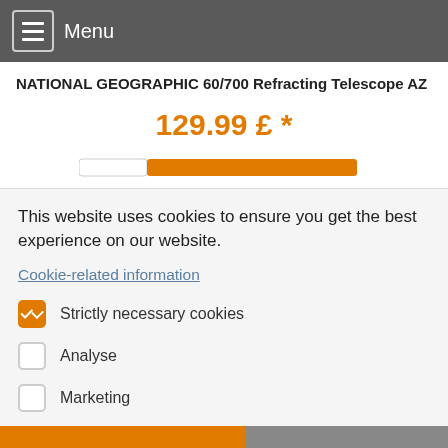Menu
NATIONAL GEOGRAPHIC 60/700 Refracting Telescope AZ
129.99 £ *
This website uses cookies to ensure you get the best experience on our website.
Cookie-related information
Strictly necessary cookies
Analyse
Marketing
Accept all
Save